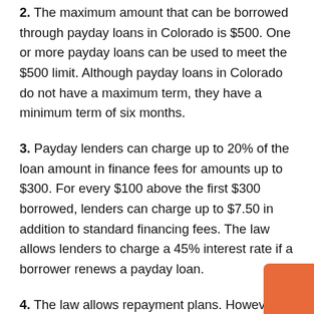2. The maximum amount that can be borrowed through payday loans in Colorado is $500. One or more payday loans can be used to meet the $500 limit. Although payday loans in Colorado do not have a maximum term, they have a minimum term of six months.
3. Payday lenders can charge up to 20% of the loan amount in finance fees for amounts up to $300. For every $100 above the first $300 borrowed, lenders can charge up to $7.50 in addition to standard financing fees. The law allows lenders to charge a 45% interest rate if a borrower renews a payday loan.
4. The law allows repayment plans. However, the terms of these plans may differ between lenders